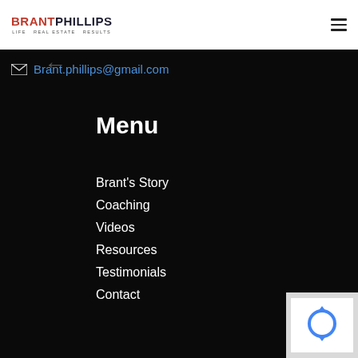BRANT PHILLIPS - LIFE REAL ESTATE RESULTS
Brant.phillips@gmail.com
Menu
Brant's Story
Coaching
Videos
Resources
Testimonials
Contact